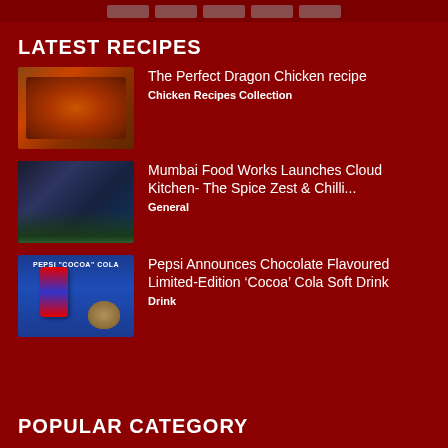LATEST RECIPES
[Figure (photo): Photo of Dragon Chicken dish - crispy fried chicken pieces with peppers]
The Perfect Dragon Chicken recipe
Chicken Recipes Collection
[Figure (photo): Photo of Indian food with brass/silver vessels and vegetables on dark background]
Mumbai Food Works Launches Cloud Kitchen- The Spice Zest & Chilli...
General
[Figure (photo): Pepsi Cocoa Cola advertisement image with blue background, Pepsi can and mug]
Pepsi Announces Chocolate Flavoured Limited-Edition ‘Cocoa’ Cola Soft Drink
Drink
POPULAR CATEGORY